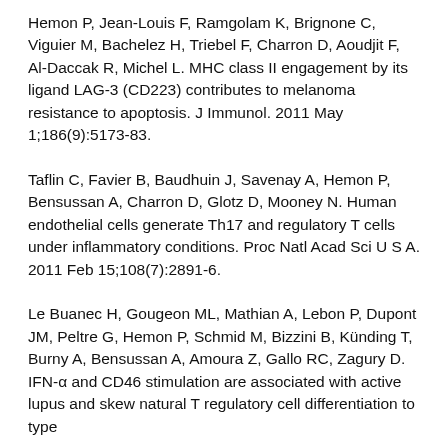Hemon P, Jean-Louis F, Ramgolam K, Brignone C, Viguier M, Bachelez H, Triebel F, Charron D, Aoudjit F, Al-Daccak R, Michel L. MHC class II engagement by its ligand LAG-3 (CD223) contributes to melanoma resistance to apoptosis. J Immunol. 2011 May 1;186(9):5173-83.
Taflin C, Favier B, Baudhuin J, Savenay A, Hemon P, Bensussan A, Charron D, Glotz D, Mooney N. Human endothelial cells generate Th17 and regulatory T cells under inflammatory conditions. Proc Natl Acad Sci U S A. 2011 Feb 15;108(7):2891-6.
Le Buanec H, Gougeon ML, Mathian A, Lebon P, Dupont JM, Peltre G, Hemon P, Schmid M, Bizzini B, Künding T, Burny A, Bensussan A, Amoura Z, Gallo RC, Zagury D. IFN-α and CD46 stimulation are associated with active lupus and skew natural T regulatory cell differentiation to type